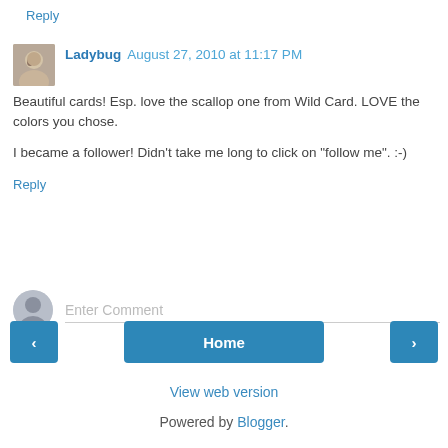Reply
Ladybug August 27, 2010 at 11:17 PM
Beautiful cards! Esp. love the scallop one from Wild Card. LOVE the colors you chose.

I became a follower! Didn't take me long to click on "follow me". :-)
Reply
Enter Comment
Home
View web version
Powered by Blogger.